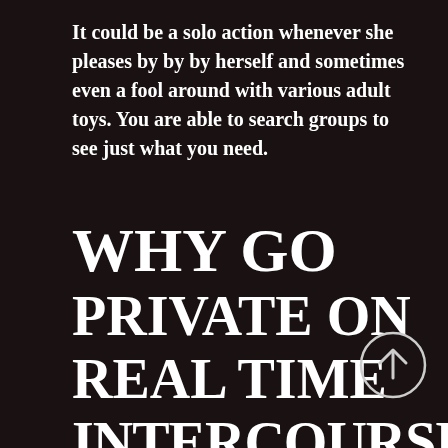It could be a solo action whenever she pleases by by by herself and sometimes even a fool around with various adult toys. You are able to search groups to see just what you need.
WHY GO PRIVATE ON REAL TIME INTERCOURSE